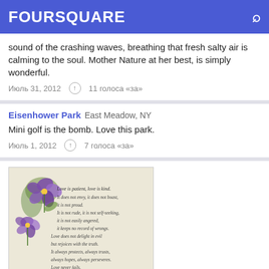FOURSQUARE
sound of the crashing waves, breathing that fresh salty air is calming to the soul. Mother Nature at her best, is simply wonderful.
Июль 31, 2012   11 голоса «за»
Eisenhower Park   East Meadow, NY
Mini golf is the bomb. Love this park.
Июль 1, 2012   7 голоса «за»
[Figure (photo): Handwritten cursive text on decorative card with floral illustration (purple pansy flowers), appears to be Bible verse about love (1 Corinthians)]
Our Lady Queen Of Heaven Cemetery   North Lauderdale, FL
Grandma and Grandpa ... Your's was ... A One in a Million kind of love. <3. Forever in my heart. Thinking of you today. Grandma, saw your favorite passage today and decided to post it. Go figure.
Июнь 30, 2013   7 голоса «за»